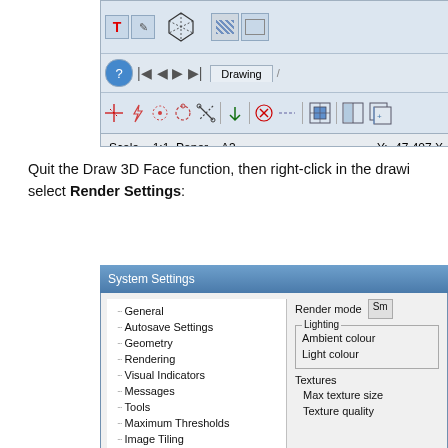[Figure (screenshot): CAD application toolbar showing icon buttons, navigation controls with Drawing tab, tool icons, and status bar reading 'Scale = 1:1  Paper = A3' and 'Y: -47.407 X:...']
Quit the Draw 3D Face function, then right-click in the drawing area and select Render Settings:
[Figure (screenshot): System Settings dialog window showing a tree menu on the left with items: General, Autosave Settings, Geometry, Rendering, Visual Indicators, Messages, Tools, Maximum Thresholds, Image Tiling, Autoload, Version Check. On the right panel: Render mode with 'Sm' button, Lighting group with Ambient colour and Light colour, Textures group with Max texture size and Texture quality.]